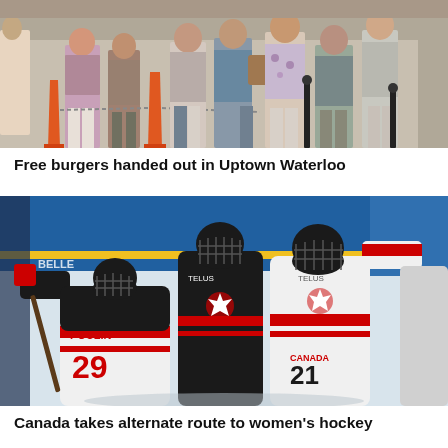[Figure (photo): People standing in a queue outdoors in Uptown Waterloo, with orange pylons and barriers visible.]
Free burgers handed out in Uptown Waterloo
[Figure (photo): Canadian women's hockey players celebrating on ice, including player number 29 Poulin, wearing black and white Canada jerseys with TELUS sponsors, inside a hockey rink with blue boards.]
Canada takes alternate route to women's hockey